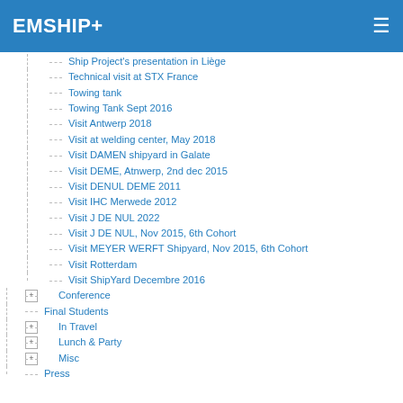EMSHIP+
Ship Project's presentation in Liège
Technical visit at STX France
Towing tank
Towing Tank Sept 2016
Visit Antwerp 2018
Visit at welding center, May 2018
Visit DAMEN shipyard in Galate
Visit DEME, Atnwerp, 2nd dec 2015
Visit DENUL DEME 2011
Visit IHC Merwede 2012
Visit J DE NUL 2022
Visit J DE NUL, Nov 2015, 6th Cohort
Visit MEYER WERFT Shipyard, Nov 2015, 6th Cohort
Visit Rotterdam
Visit ShipYard Decembre 2016
Conference
Final Students
In Travel
Lunch & Party
Misc
Press